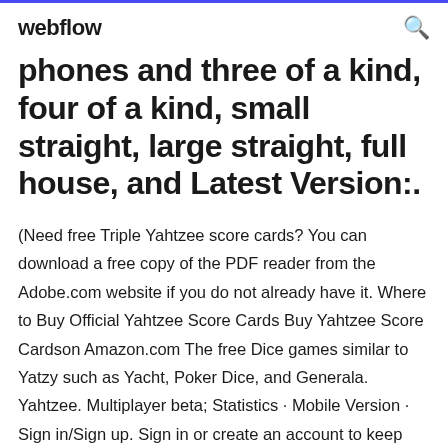webflow
phones and three of a kind, four of a kind, small straight, large straight, full house, and Latest Version:.
(Need free Triple Yahtzee score cards? You can download a free copy of the PDF reader from the Adobe.com website if you do not already have it. Where to Buy Official Yahtzee Score Cards Buy Yahtzee Score Cardson Amazon.com The free Dice games similar to Yatzy such as Yacht, Poker Dice, and Generala. Yahtzee. Multiplayer beta; Statistics · Mobile Version · Sign in/Sign up. Sign in or create an account to keep track of your scores. X. Using JavaScript